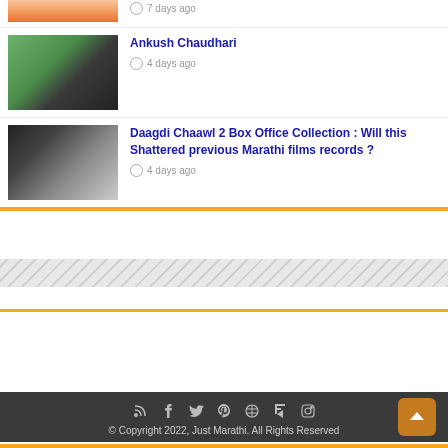[Figure (photo): Partial top image strip (cropped from previous article)]
7 days ago
[Figure (photo): Ankush Chaudhari actor photo - man in yellow/green top with number 3]
Ankush Chaudhari
4 days ago
[Figure (photo): Daagdi Chaawl 2 movie poster with two men]
Daagdi Chaawl 2 Box Office Collection : Will this Shattered previous Marathi films records ?
4 days ago
© Copyright 2022, Just Marathi. All Rights Reserved